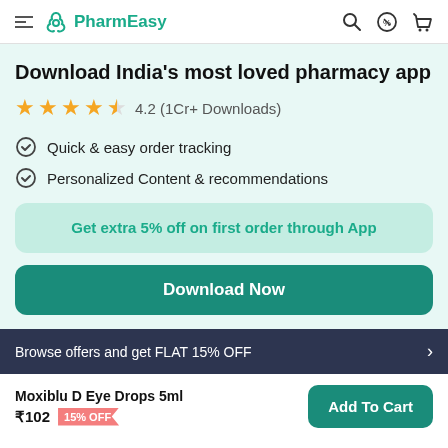PharmEasy
Download India's most loved pharmacy app
4.2 (1Cr+ Downloads)
Quick & easy order tracking
Personalized Content & recommendations
Get extra 5% off on first order through App
Download Now
Browse offers and get FLAT 15% OFF
Moxiblu D Eye Drops 5ml ₹102 15% OFF
Add To Cart